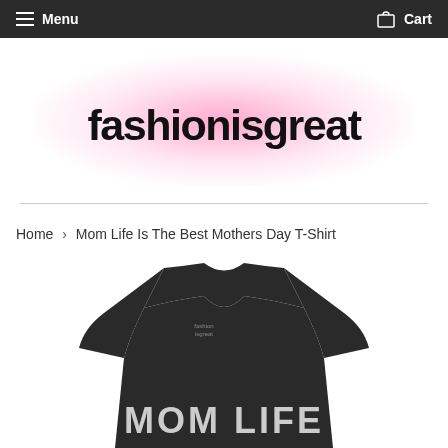Menu   Cart
[Figure (logo): fashionisgreat logo text in handwritten black font on pink radial gradient background]
Home > Mom Life Is The Best Mothers Day T-Shirt
[Figure (photo): Dark/black t-shirt with 'MOM LIFE' printed in large white block letters on the front, shown on a model, partial view]